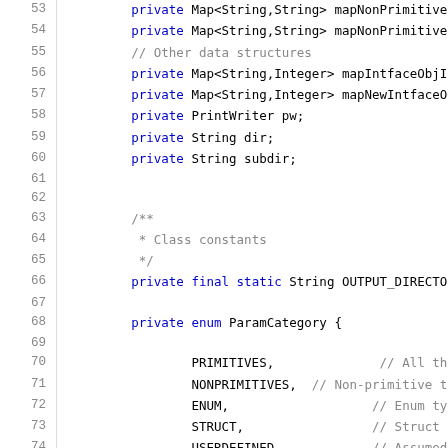[Figure (screenshot): Source code listing (Java) showing lines 53–85 of a class definition, including private field declarations, a JavaDoc comment for class constants, a static final String field, a private enum ParamCategory with values PRIMITIVES, NONPRIMITIVES, ENUM, STRUCT, USERDEFINED, a JavaDoc comment for class constructors, and the beginning of IoTCompiler() constructor with HashMap initializations.]